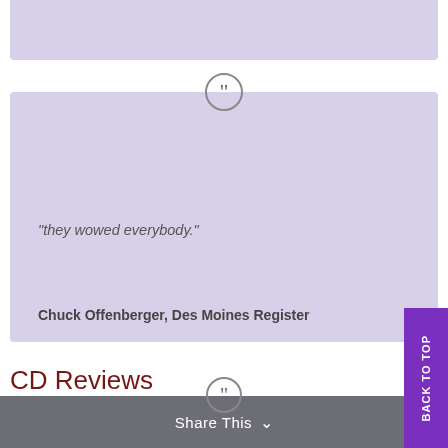[Figure (illustration): Lavender/purple top bar (partial, cropped at top of page)]
[Figure (illustration): Large quotation mark icon in a circle (grey outline) centered above the lavender testimonial box]
“they wowed everybody.”
Chuck Offenberger, Des Moines Register
CD Reviews
Compact disc recordings by the Boland-Dowdall Flute & Guitar Duo.
[Figure (illustration): Large quotation mark icon in a circle (grey) centered at bottom above Share This bar]
Share This